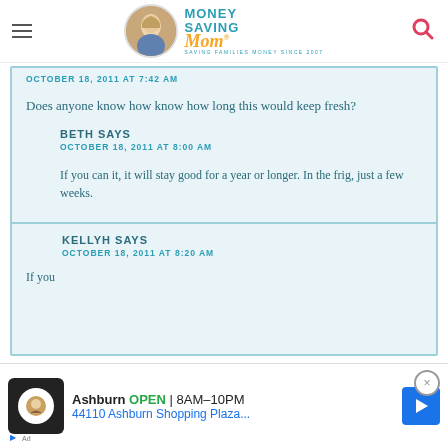Money Saving Mom — Saving Families Money Since 2007
OCTOBER 18, 2011 AT 7:42 AM
Does anyone know how know how long this would keep fresh?
BETH SAYS
OCTOBER 18, 2011 AT 8:00 AM
If you can it, it will stay good for a year or longer. In the frig, just a few weeks.
KELLYH SAYS
OCTOBER 18, 2011 AT 8:20 AM
If you...
Ashburn OPEN 8AM–10PM 44110 Ashburn Shopping Plaza...